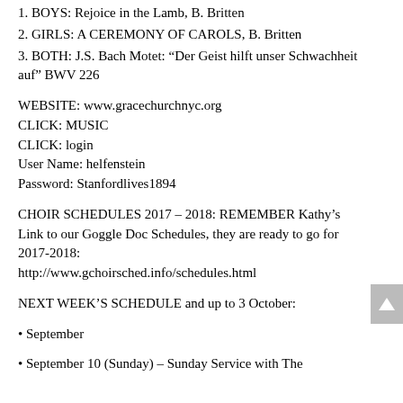1. BOYS: Rejoice in the Lamb, B. Britten
2. GIRLS: A CEREMONY OF CAROLS, B. Britten
3. BOTH: J.S. Bach Motet: “Der Geist hilft unser Schwachheit auf” BWV 226
WEBSITE: www.gracechurchnyc.org
CLICK: MUSIC
CLICK: login
User Name: helfenstein
Password: Stanfordlives1894
CHOIR SCHEDULES 2017 – 2018: REMEMBER Kathy’s Link to our Goggle Doc Schedules, they are ready to go for 2017-2018:
http://www.gchoirsched.info/schedules.html
NEXT WEEK’S SCHEDULE and up to 3 October:
• September
• September 10 (Sunday) – Sunday Service with The